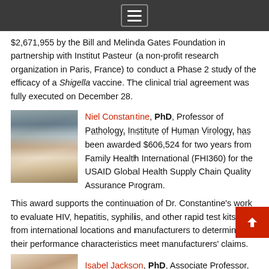[Navigation menu icon]
$2,671,955 by the Bill and Melinda Gates Foundation in partnership with Institut Pasteur (a non-profit research organization in Paris, France) to conduct a Phase 2 study of the efficacy of a Shigella vaccine. The clinical trial agreement was fully executed on December 28.
Niel Constantine, PhD, Professor of Pathology, Institute of Human Virology, has been awarded $606,524 for two years from Family Health International (FHI360) for the USAID Global Health Supply Chain Quality Assurance Program. This award supports the continuation of Dr. Constantine's work to evaluate HIV, hepatitis, syphilis, and other rapid test kits sent from international locations and manufacturers to determine if their performance characteristics meet manufacturers' claims.
Isabel Jackson, PhD, Associate Professor,